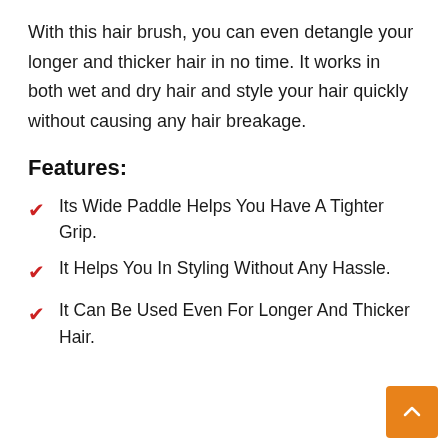With this hair brush, you can even detangle your longer and thicker hair in no time. It works in both wet and dry hair and style your hair quickly without causing any hair breakage.
Features:
Its Wide Paddle Helps You Have A Tighter Grip.
It Helps You In Styling Without Any Hassle.
It Can Be Used Even For Longer And Thicker Hair.